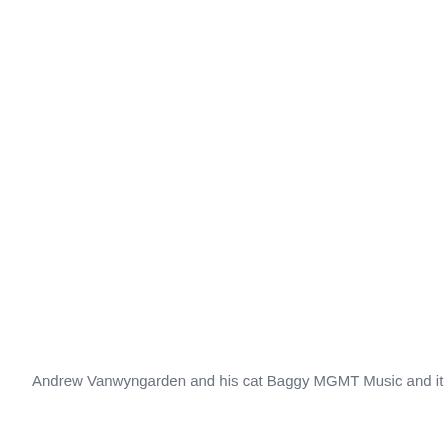Andrew Vanwyngarden and his cat Baggy MGMT Music and it